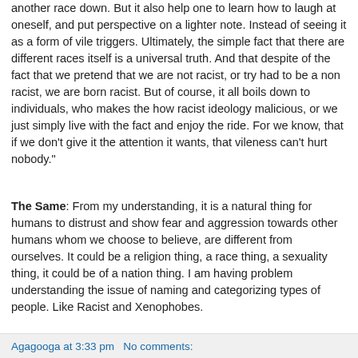another race down. But it also help one to learn how to laugh at oneself, and put perspective on a lighter note. Instead of seeing it as a form of vile triggers. Ultimately, the simple fact that there are different races itself is a universal truth. And that despite of the fact that we pretend that we are not racist, or try had to be a non racist, we are born racist. But of course, it all boils down to individuals, who makes the how racist ideology malicious, or we just simply live with the fact and enjoy the ride. For we know, that if we don't give it the attention it wants, that vileness can't hurt nobody."
The Same: From my understanding, it is a natural thing for humans to distrust and show fear and aggression towards other humans whom we choose to believe, are different from ourselves. It could be a religion thing, a race thing, a sexuality thing, it could be of a nation thing. I am having problem understanding the issue of naming and categorizing types of people. Like Racist and Xenophobes.
Agagooga at 3:33 pm   No comments: